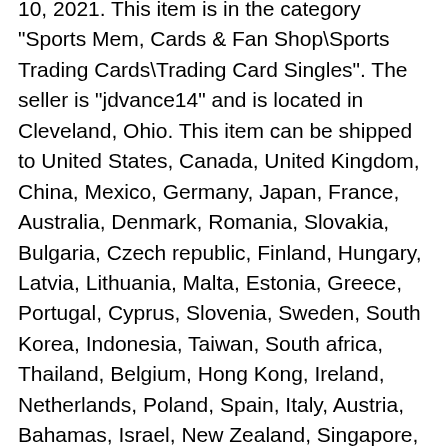10, 2021. This item is in the category "Sports Mem, Cards & Fan Shop\Sports Trading Cards\Trading Card Singles". The seller is "jdvance14" and is located in Cleveland, Ohio. This item can be shipped to United States, Canada, United Kingdom, China, Mexico, Germany, Japan, France, Australia, Denmark, Romania, Slovakia, Bulgaria, Czech republic, Finland, Hungary, Latvia, Lithuania, Malta, Estonia, Greece, Portugal, Cyprus, Slovenia, Sweden, South Korea, Indonesia, Taiwan, South africa, Thailand, Belgium, Hong Kong, Ireland, Netherlands, Poland, Spain, Italy, Austria, Bahamas, Israel, New Zealand, Singapore, Switzerland, Norway, Saudi arabia, United arab emirates, Qatar, Kuwait, Bahrain, Croatia, Malaysia, Chile, Colombia, Costa rica, Panama, Trinidad and tobago, Guatemala, Honduras, Jamaica, Barbados, Bangladesh, Bermuda, Brunei darussalam, Bolivia, Egypt, French guiana, Guernsey, Gibraltar, Guadeloupe, Iceland, Jersey, Jordan, Cambodia, Cayman islands, Liechtenstein, Sri lanka, Luxembourg, Monaco, Macao, Martinique, Maldives, Nicaragua, Oman, Pakistan, Paraguay, Reunion, Uruguay, Philippines, Antigua and barbuda, Aruba, Belize, Dominica, Grenada, Saint kitts and nevis, Saint lucia, Montserrat, Turks and caicos islands